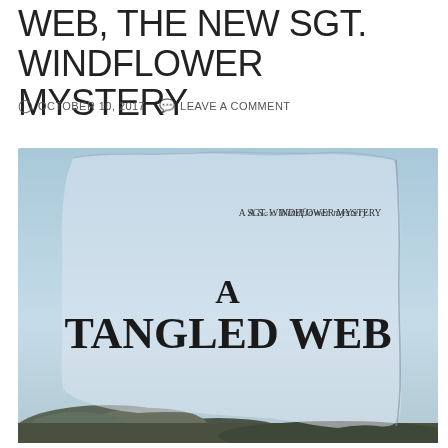WEB, THE NEW SGT. WINDFLOWER MYSTERY
OCTOBER 10, 2017   LEAVE A COMMENT
[Figure (photo): Book cover for 'A Tangled Web: A Sgt. Windflower Mystery' showing a sky background with torn paper effect revealing the title text, and a rocky landscape at the bottom.]